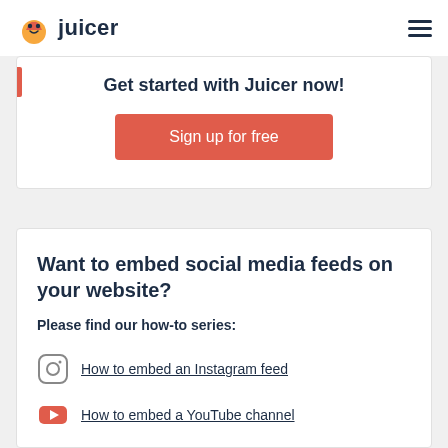juicer
Get started with Juicer now!
Sign up for free
Want to embed social media feeds on your website?
Please find our how-to series:
How to embed an Instagram feed
How to embed a YouTube channel